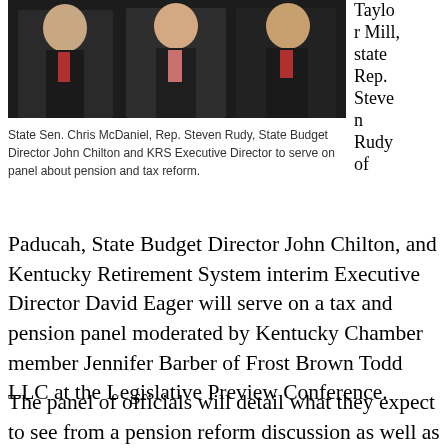[Figure (photo): A photograph of three men in suits and ties (red/pink ties), standing side by side. They appear to be politicians or officials.]
State Sen. Chris McDaniel, Rep. Steven Rudy, State Budget Director John Chilton and KRS Executive Director to serve on panel about pension and tax reform.
Taylor Mill, state Rep. Steven Rudy of Paducah, State Budget Director John Chilton, and Kentucky Retirement System interim Executive Director David Eager will serve on a tax and pension panel moderated by Kentucky Chamber member Jennifer Barber of Frost Brown Todd LLC at the Legislative Preview Conference.
The panel of officials will detail what they expect to see from a pension reform discussion as well as what they believe will be on the table when reforming the state's tax code for the first